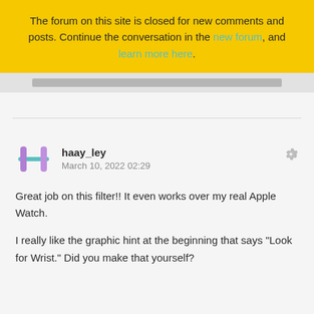The forum on this site is closed for new comments and posts. Continue the conversation in the new forum, and learn more here.
[Figure (other): Gray horizontal bar below the yellow banner]
haay_ley
March 10, 2022 02:29
Great job on this filter!! It even works over my real Apple Watch.

I really like the graphic hint at the beginning that says "Look for Wrist." Did you make that yourself?